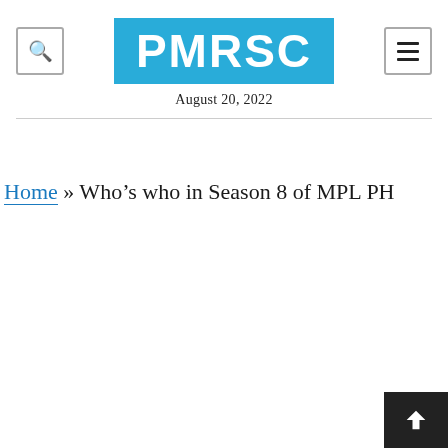PMRSC — August 20, 2022
Home » Who's who in Season 8 of MPL PH